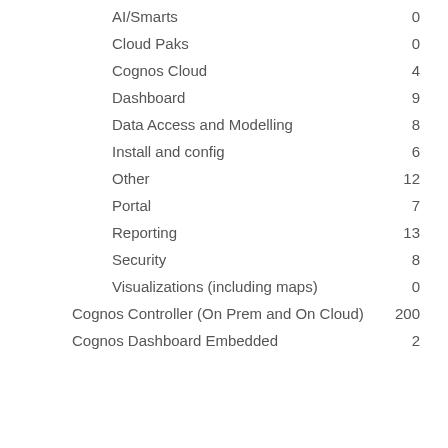AI/Smarts   0
Cloud Paks   0
Cognos Cloud   4
Dashboard   9
Data Access and Modelling   8
Install and config   6
Other   12
Portal   7
Reporting   13
Security   8
Visualizations (including maps)   0
Cognos Controller (On Prem and On Cloud)   200
Cognos Dashboard Embedded   2